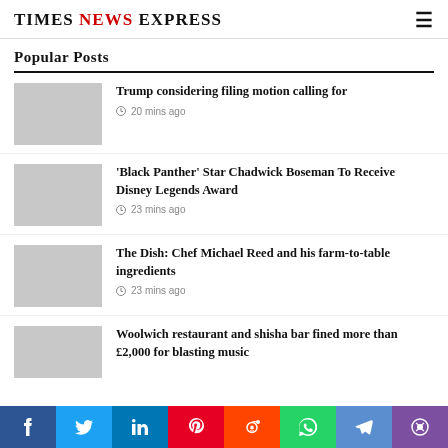Times News Express
Popular Posts
Trump considering filing motion calling for | 20 mins ago
'Black Panther' Star Chadwick Boseman To Receive Disney Legends Award | 23 mins ago
The Dish: Chef Michael Reed and his farm-to-table ingredients | 23 mins ago
Woolwich restaurant and shisha bar fined more than £2,000 for blasting music